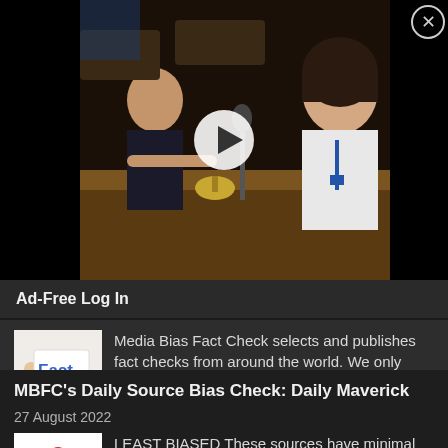[Figure (photo): Video thumbnail showing a woman at a conference/hearing, with a white play button overlay in the center. Close button (X in circle) at top right. Dark background.]
Ad-Free Log In
[Figure (photo): Small thumbnail image of a hand holding a card with the word 'Fact' printed on it in blue text.]
Media Bias Fact Check selects and publishes fact checks from around the world. We only utilize fact-checkers that are either a signatory of the International Fact-Checking Network (IFCN) or have… [...]
MBFC's Daily Source Bias Check: Daily Maverick
27 August 2022
[Figure (photo): Small thumbnail image with a red microphone icon on white background.]
LEAST BIASED These sources have minimal bias and use very few loaded